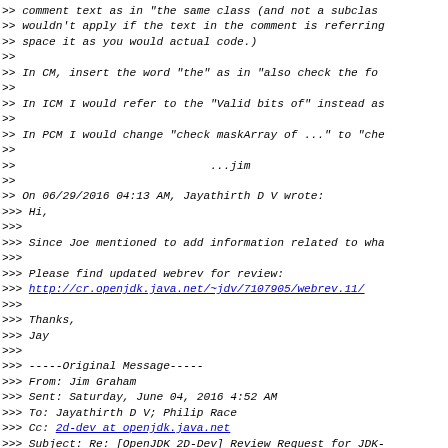>> comment text as in "the same class (and not a subclas...
>> wouldn't apply if the text in the comment is referring...
>> space it as you would actual code.)
>>
>> In CM, insert the word "the" as in "also check the fo...
>>
>> In ICM I would refer to the "Valid bits of" instead as...
>>
>> In PCM I would change "check maskArray of ..." to "che...
>>
>>                             ...jim
>>
>> On 06/29/2016 04:13 AM, Jayathirth D V wrote:
>>> Hi,
>>>
>>> Since Joe mentioned to add information related to wha...
>>>
>>> Please find updated webrev for review:
>>> http://cr.openjdk.java.net/~jdv/7107905/webrev.11/
>>>
>>> Thanks,
>>> Jay
>>>
>>> -----Original Message-----
>>> From: Jim Graham
>>> Sent: Saturday, June 04, 2016 4:52 AM
>>> To: Jayathirth D V; Philip Race
>>> Cc: 2d-dev at openjdk.java.net
>>> Subject: Re: [OpenJDK 2D-Dev] Review Request for JDK-...
>>> ColorModel subclasses are missing hashCode() or equal...